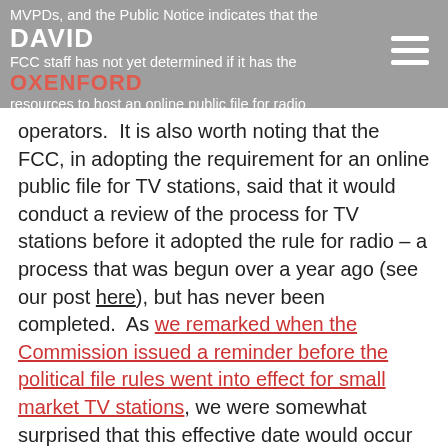MVPDs, and the Public Notice indicates that the FCC staff has not yet determined if it has the resources to host an online public file for radio operators. DAVID OXENFORD
operators.  It is also worth noting that the FCC, in adopting the requirement for an online public file for TV stations, said that it would conduct a review of the process for TV stations before it adopted the rule for radio – a process that was begun over a year ago (see our post here), but has never been completed.  As we remarked when the Commission issued a reminder before the political file rules went into effect for small market TV stations, we were somewhat surprised that this effective date would occur before there was any resolution of that review.  But the online political file rule went into effect for small market TV with no resolution of the review of the effectiveness of the online file (see our